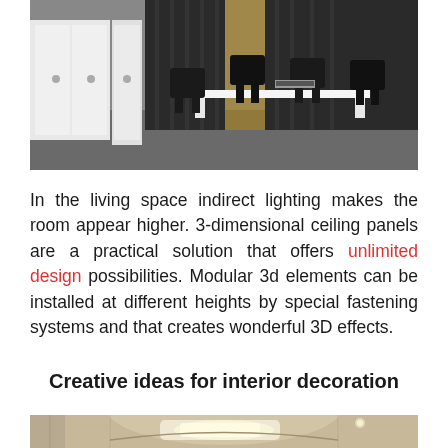[Figure (photo): Interior office/showroom photo showing white storage cabinets on the left and black chairs around a white table on the right, with dark curtains in the background.]
In the living space indirect lighting makes the room appear higher. 3-dimensional ceiling panels are a practical solution that offers unlimited design possibilities. Modular 3d elements can be installed at different heights by special fastening systems and that creates wonderful 3D effects.
Creative ideas for interior decoration
[Figure (photo): Interior room photo showing a ceiling with curved 3D panel elements and recessed lighting against a warm beige/cream background.]